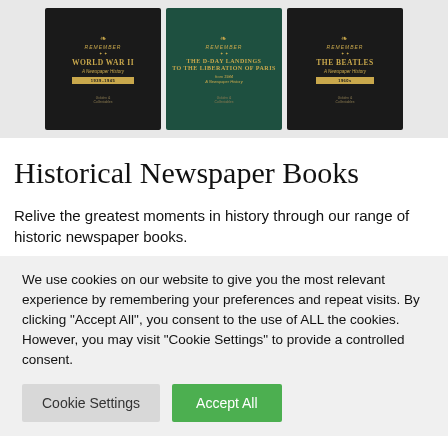[Figure (photo): Three decorative book covers side by side: 'Remember World War II' (black cover), 'Remember The D-Day Landings to the Liberation of Paris' (green cover), and 'Remember The Beatles' (black cover). All have gold ornamental text and designs.]
Historical Newspaper Books
Relive the greatest moments in history through our range of historic newspaper books.
We use cookies on our website to give you the most relevant experience by remembering your preferences and repeat visits. By clicking "Accept All", you consent to the use of ALL the cookies. However, you may visit "Cookie Settings" to provide a controlled consent.